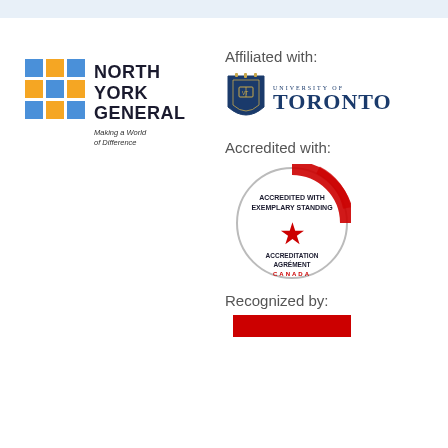[Figure (logo): North York General Hospital logo with coloured grid squares and text 'NORTH YORK GENERAL - Making a World of Difference']
Affiliated with:
[Figure (logo): University of Toronto logo with shield crest and text 'UNIVERSITY OF TORONTO']
Accredited with:
[Figure (logo): Accreditation Canada circular badge - 'ACCREDITED WITH EXEMPLARY STANDING' with red star and 'ACCREDITATION AGRÉMENT CANADA']
Recognized by:
[Figure (logo): Partially visible red recognized-by logo bar at bottom of page]